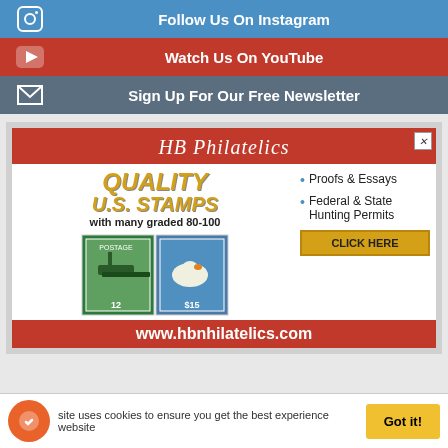[Figure (infographic): Follow Us On Instagram social media button bar with Instagram icon on blue background]
[Figure (infographic): Watch Us On YouTube social media button bar with YouTube play icon on red background]
[Figure (infographic): Sign Up For Our Free Newsletter button bar with envelope icon on dark blue-gray background]
[Figure (infographic): HB Philatelics advertisement: Quality U.S. Stamps with many graded 80-100, Proofs & Essays, Federal & State Hunting Permits, Click Here button, www.hbnhilatelics.com]
site uses cookies to ensure you get the best experience website
Got it!